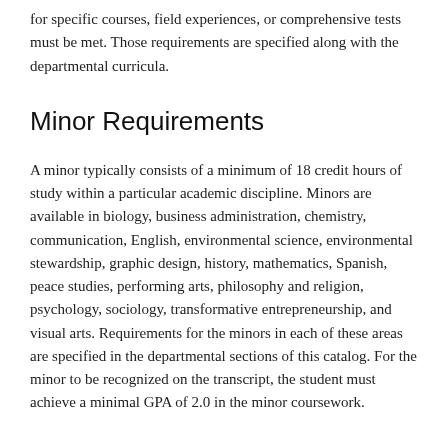for specific courses, field experiences, or comprehensive tests must be met. Those requirements are specified along with the departmental curricula.
Minor Requirements
A minor typically consists of a minimum of 18 credit hours of study within a particular academic discipline. Minors are available in biology, business administration, chemistry, communication, English, environmental science, environmental stewardship, graphic design, history, mathematics, Spanish, peace studies, performing arts, philosophy and religion, psychology, sociology, transformative entrepreneurship, and visual arts. Requirements for the minors in each of these areas are specified in the departmental sections of this catalog. For the minor to be recognized on the transcript, the student must achieve a minimal GPA of 2.0 in the minor coursework.
Teacher Education Program
The Teacher Education Program at McPherson College focuses